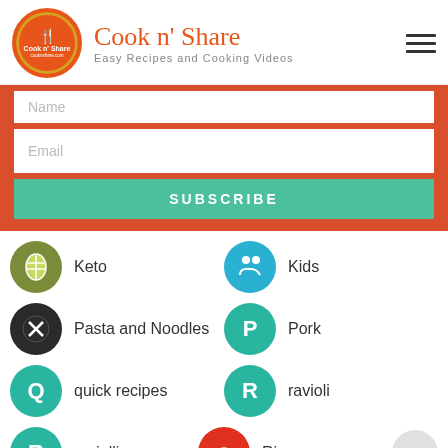Cook n' Share — Easy Recipes and Cooking Videos
Name
Email
SUBSCRIBE
Keto
Kids
Pasta and Noodles
Pork
quick recipes
ravioli
raviolli
Rice